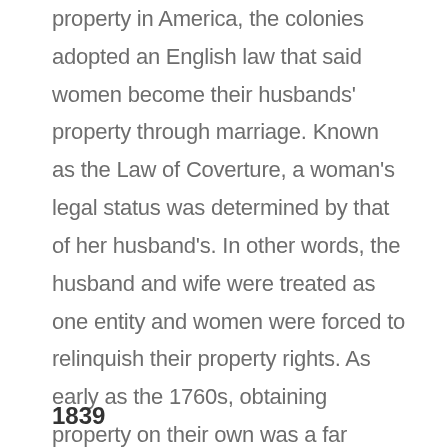property in America, the colonies adopted an English law that said women become their husbands' property through marriage. Known as the Law of Coverture, a woman's legal status was determined by that of her husband's. In other words, the husband and wife were treated as one entity and women were forced to relinquish their property rights. As early as the 1760s, obtaining property on their own was a far aspiration, especially considering they were considered property themselves.
1839